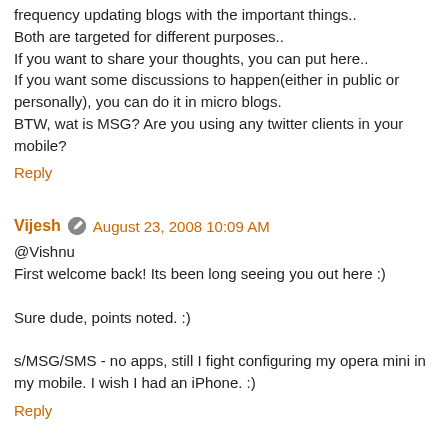frequency updating blogs with the important things.. Both are targeted for different purposes.. If you want to share your thoughts, you can put here.. If you want some discussions to happen(either in public or personally), you can do it in micro blogs. BTW, wat is MSG? Are you using any twitter clients in your mobile?
Reply
Vijesh  August 23, 2008 10:09 AM
@Vishnu
First welcome back! Its been long seeing you out here :)

Sure dude, points noted. :)

s/MSG/SMS - no apps, still I fight configuring my opera mini in my mobile. I wish I had an iPhone. :)
Reply